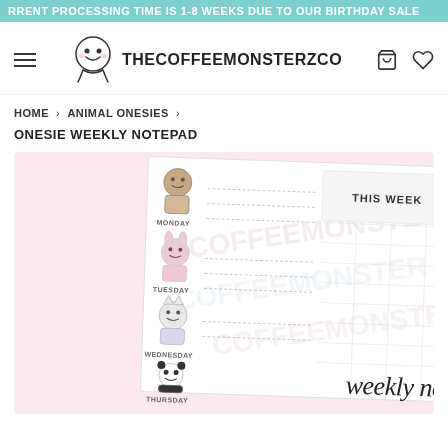RRENT PROCESSING TIME IS 1-8 WEEKS DUE TO OUR BIRTHDAY SALE
[Figure (logo): TheCoffeeMonsterZCo logo with cartoon coffee cup character and store name text]
HOME › ANIMAL ONESIES ›
ONESIE WEEKLY NOTEPAD
[Figure (photo): Product photo of Onesie Weekly Notepad showing kawaii animal characters (sloth, bunny, cat, panda) dressed in onesies next to weekday labels (Monday, Tuesday, Wednesday, Thursday) with 'THIS WEEK' header and 'weekly notepad' cursive text, on pastel pink background]